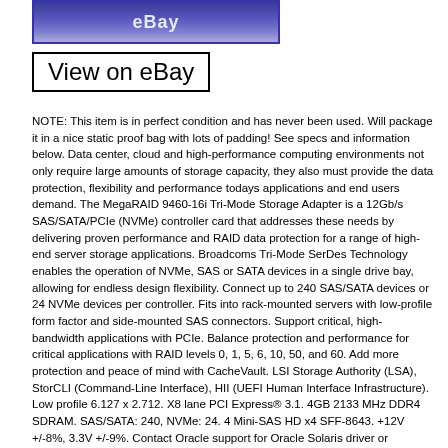[Figure (photo): Partial eBay product image showing the eBay logo/watermark on a blue gradient background]
View on eBay
NOTE: This item is in perfect condition and has never been used. Will package it in a nice static proof bag with lots of padding! See specs and information below. Data center, cloud and high-performance computing environments not only require large amounts of storage capacity, they also must provide the data protection, flexibility and performance todays applications and end users demand. The MegaRAID 9460-16i Tri-Mode Storage Adapter is a 12Gb/s SAS/SATA/PCIe (NVMe) controller card that addresses these needs by delivering proven performance and RAID data protection for a range of high-end server storage applications. Broadcoms Tri-Mode SerDes Technology enables the operation of NVMe, SAS or SATA devices in a single drive bay, allowing for endless design flexibility. Connect up to 240 SAS/SATA devices or 24 NVMe devices per controller. Fits into rack-mounted servers with low-profile form factor and side-mounted SAS connectors. Support critical, high-bandwidth applications with PCIe. Balance protection and performance for critical applications with RAID levels 0, 1, 5, 6, 10, 50, and 60. Add more protection and peace of mind with CacheVault. LSI Storage Authority (LSA), StorCLI (Command-Line Interface), HII (UEFI Human Interface Infrastructure). Low profile 6.127 x 2.712. X8 lane PCI Express® 3.1. 4GB 2133 MHz DDR4 SDRAM. SAS/SATA: 240, NVMe: 24. 4 Mini-SAS HD x4 SFF-8643. +12V +/-8%, 3.3V +/-9%. Contact Oracle support for Oracle Solaris driver or software support. Australia/New Zealand (AS/NZS CISPR 22), Canada (ICES -003, Class B), Europe (EN55022/EN55024), Japan (VCCI V-3), Korea (RRA